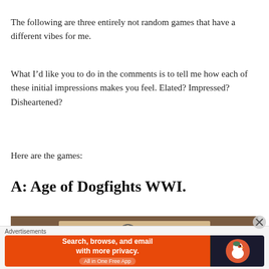The following are three entirely not random games that have a different vibes for me.
What I’d like you to do in the comments is to tell me how each of these initial impressions makes you feel. Elated? Impressed? Disheartened?
Here are the games:
A: Age of Dogfights WWI.
[Figure (photo): Partial view of a board game box for Age of Dogfights WWI, showing brown textured surface and a game board with illustrated content.]
Advertisements
[Figure (screenshot): DuckDuckGo advertisement banner: orange left side with text 'Search, browse, and email with more privacy. All in One Free App', dark right side with DuckDuckGo duck logo.]